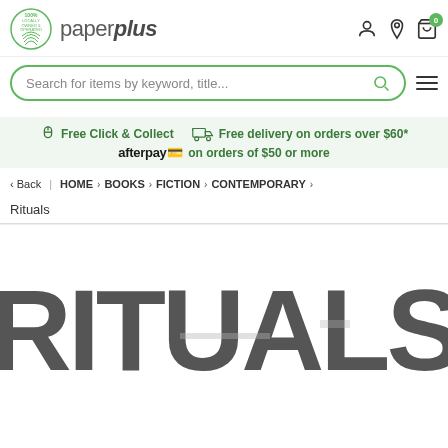[Figure (logo): Paper Plus logo with '100% Locally Owned & Operated' badge and paperplus brand name]
Search for items by keyword, title...
Free Click & Collect   Free delivery on orders over $60*   afterpay on orders of $50 or more
< Back | HOME > BOOKS > FICTION > CONTEMPORARY >
Rituals
[Figure (photo): Large bold text 'RITUALS' in dark gray, styled as a book cover title]